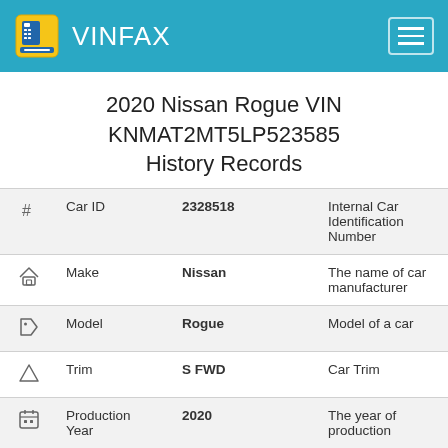VINFAX
2020 Nissan Rogue VIN KNMAT2MT5LP523585 History Records
| # | Car ID | 2328518 | Internal Car Identification Number |
| --- | --- | --- | --- |
| # | Car ID | 2328518 | Internal Car Identification Number |
| house icon | Make | Nissan | The name of car manufacturer |
| tag icon | Model | Rogue | Model of a car |
| triangle icon | Trim | S FWD | Car Trim |
| calendar icon | Production Year | 2020 | The year of production |